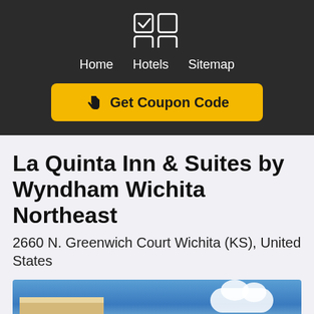Home  Hotels  Sitemap
Get Coupon Code
La Quinta Inn & Suites by Wyndham Wichita Northeast
2660 N. Greenwich Court Wichita (KS), United States
[Figure (photo): Exterior photo of La Quinta Inn building showing roofline against a blue sky with clouds]